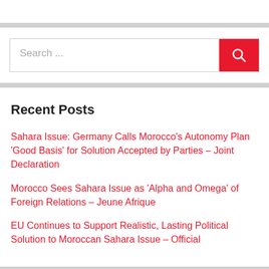[Figure (screenshot): Search bar with text input field showing 'Search ...' placeholder and a red button with magnifying glass icon]
Recent Posts
Sahara Issue: Germany Calls Morocco's Autonomy Plan 'Good Basis' for Solution Accepted by Parties – Joint Declaration
Morocco Sees Sahara Issue as 'Alpha and Omega' of Foreign Relations – Jeune Afrique
EU Continues to Support Realistic, Lasting Political Solution to Moroccan Sahara Issue – Official